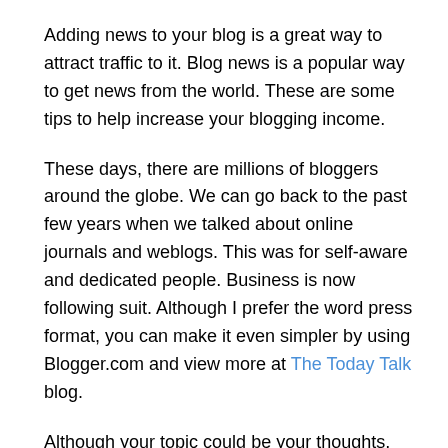Adding news to your blog is a great way to attract traffic to it. Blog news is a popular way to get news from the world. These are some tips to help increase your blogging income.
These days, there are millions of bloggers around the globe. We can go back to the past few years when we talked about online journals and weblogs. This was for self-aware and dedicated people. Business is now following suit. Although I prefer the word press format, you can make it even simpler by using Blogger.com and view more at The Today Talk blog.
Although your topic could be your thoughts, you should target your audience. You can organize everything before you start writing a post. There is no need to create pages when writing a post. It can be kept short with some longer posts.
No longer do you have to rely solely on words. Photos, audio,